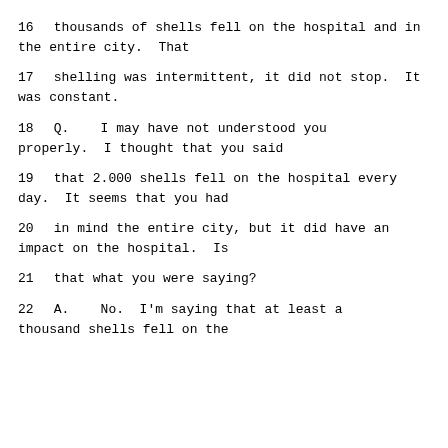16      thousands of shells fell on the hospital and in the entire city.  That
17      shelling was intermittent, it did not stop.  It was constant.
18         Q.    I may have not understood you properly.  I thought that you said
19      that 2.000 shells fell on the hospital every day.  It seems that you had
20      in mind the entire city, but it did have an impact on the hospital.  Is
21      that what you were saying?
22         A.    No.  I'm saying that at least a thousand shells fell on the